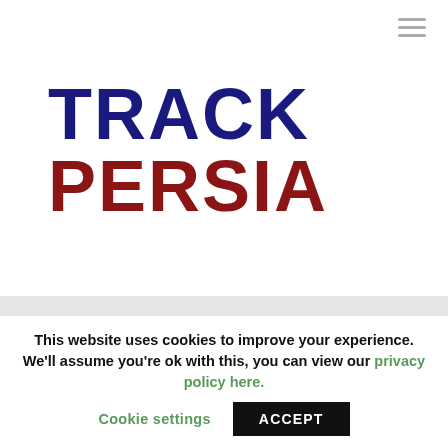[Figure (logo): Track Persia logo: TRACK in dark navy bold uppercase, PERSIA in dark red bold uppercase]
Al Mustafa University, Iran's global network of Islamic schools
This website uses cookies to improve your experience. We'll assume you're ok with this, you can view our privacy policy here.
Cookie settings   ACCEPT